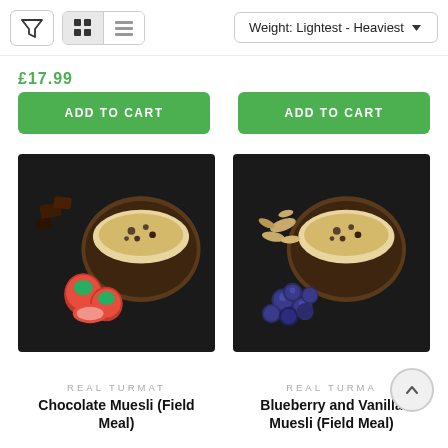Filter | Grid/List toggle | Sort: Weight: Lightest - Heaviest
ADD TO CART (left product)
ADD TO CART (right product)
[Figure (photo): Dark background product photo: wooden bowl with muesli topped with grains, surrounded by strawberries and dark chocolate pieces]
[Figure (photo): Dark background product photo: wooden bowl with muesli topped with grains, surrounded by blueberries and oats]
REAL TURMAT
Chocolate Muesli (Field Meal)
REAL TURMAT
Blueberry and Vanilla Muesli (Field Meal)